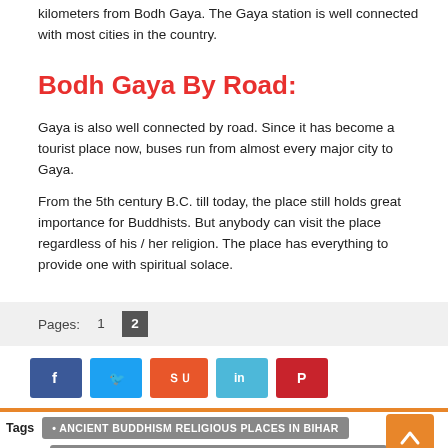kilometers from Bodh Gaya. The Gaya station is well connected with most cities in the country.
Bodh Gaya By Road:
Gaya is also well connected by road. Since it has become a tourist place now, buses run from almost every major city to Gaya.
From the 5th century B.C. till today, the place still holds great importance for Buddhists. But anybody can visit the place regardless of his / her religion. The place has everything to provide one with spiritual solace.
Pages: 1  2
[Figure (infographic): Social sharing buttons: Facebook (blue), Twitter (light blue), StumbleUpon (orange-red), LinkedIn (light blue), Pinterest (red)]
Tags  • ANCIENT BUDDHISM RELIGIOUS PLACES IN BIHAR  • ANCIENT BUDDHISM RELIGIOUS PLACES IN BODH GAYA